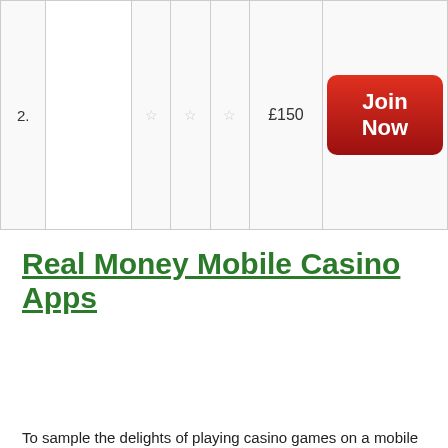| # | Casino |  |  |  | Bonus | Action |
| --- | --- | --- | --- | --- | --- | --- |
| 2. |  | ☆ | ☆ | ☆ | £150 | Join Now |
Real Money Mobile Casino Apps
To sample the delights of playing casino games on a mobile